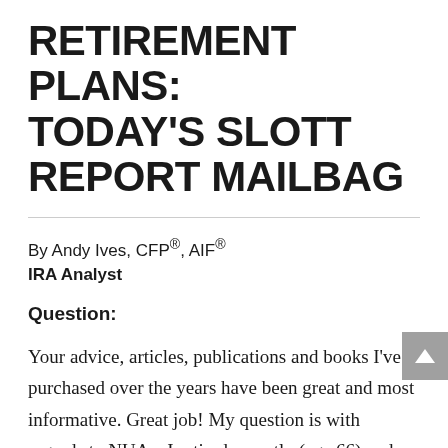RETIREMENT PLANS: TODAY'S SLOTT REPORT MAILBAG
By Andy Ives, CFP®, AIF®
IRA Analyst
Question:
Your advice, articles, publications and books I've purchased over the years have been great and most informative. Great job! My question is with regards to NUA – I retired recently (age 66) and had a